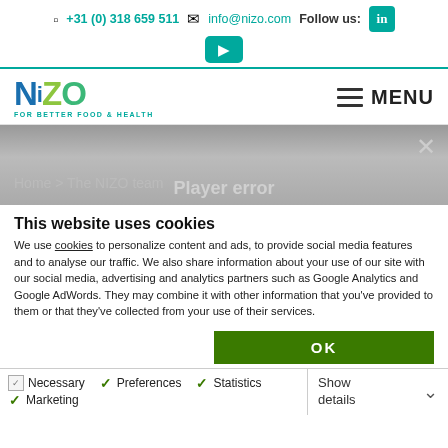+31 (0) 318 659 511  info@nizo.com  Follow us: [LinkedIn] [YouTube]
[Figure (logo): NIZO logo with tagline FOR BETTER FOOD & HEALTH and MENU hamburger button]
[Figure (screenshot): Gray hero banner area with X close button, breadcrumb 'Home > The NIZO team' and 'Player error' overlay text]
This website uses cookies
We use cookies to personalize content and ads, to provide social media features and to analyse our traffic. We also share information about your use of our site with our social media, advertising and analytics partners such as Google Analytics and Google AdWords. They may combine it with other information that you've provided to them or that they've collected from your use of their services.
OK
Necessary  Preferences  Statistics  Marketing  Show details